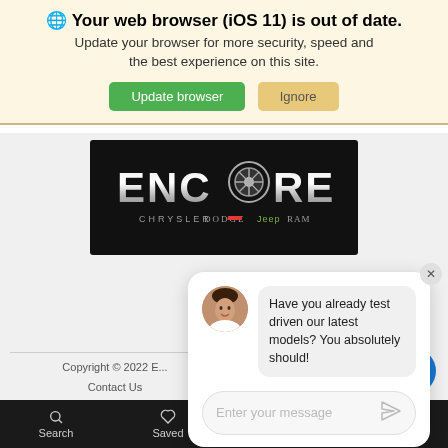🌐 Your web browser (iOS 11) is out of date. Update your browser for more security, speed and the best experience on this site.
Update browser | Ignore
[Figure (logo): Encore Chrysler Dodge Jeep Ram dealership logo on black background with stylized wheel replacing the O in ENCORE]
[Figure (screenshot): Chat popup with female avatar and message: Have you already test driven our latest models? You absolutely should! With Enter your message input field.]
Copyright © 2022 E... | Contact Us | Advanced Automotive Dealer Websites by Dealer Inspire
Search | Saved | Share | Contact